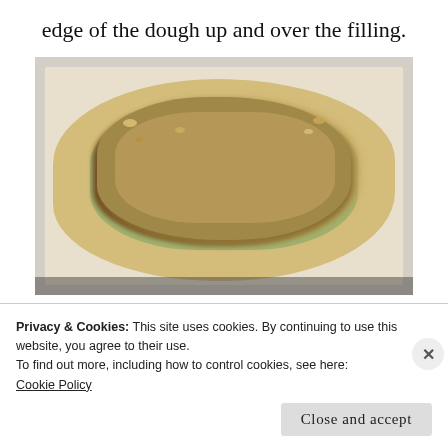edge of the dough up and over the filling.
[Figure (photo): An unbaked galette on a dark baking sheet lined with parchment paper. The pastry dough is folded up around the edges over sliced green apples topped with a brown sugar and nut streusel filling.]
Privacy & Cookies: This site uses cookies. By continuing to use this website, you agree to their use.
To find out more, including how to control cookies, see here:
Cookie Policy
Close and accept